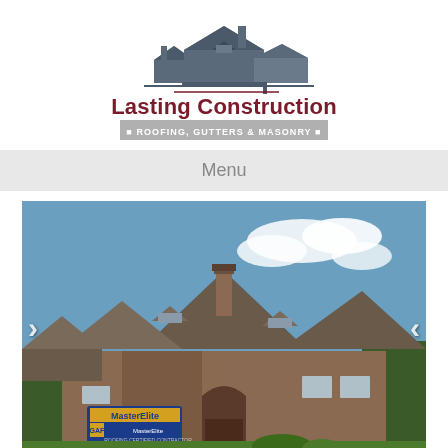[Figure (logo): Lasting Construction logo: silhouette of houses/rooflines in dark gray above the company name]
Lasting Construction
ROOFING, GUTTERS & MASONRY
Menu
[Figure (photo): Photo of a large stone and brick house with multi-gabled architectural asphalt shingle roof under a blue sky. A GAF Master Elite contractor sign is visible at lower left. Slideshow navigation arrows on left and right sides.]